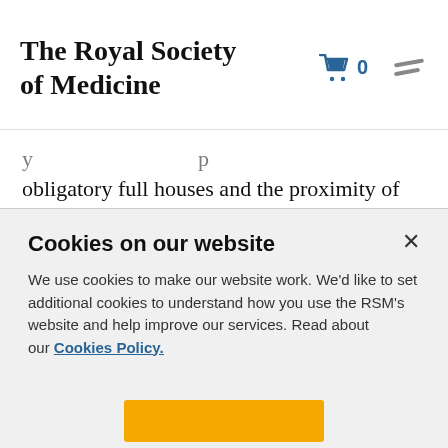The Royal Society of Medicine
obligatory full houses and the proximity of the John Lewis food hall. I have just flicked through my diary to see who has tread the boards in the last few weeks alone.
Cathie Pilkington was great fun and a tour de force as the Royal Academy Lecturer for 2018, on the topic of "making things happen from stuff". For
Cookies on our website
We use cookies to make our website work. We'd like to set additional cookies to understand how you use the RSM's website and help improve our services. Read about our Cookies Policy.